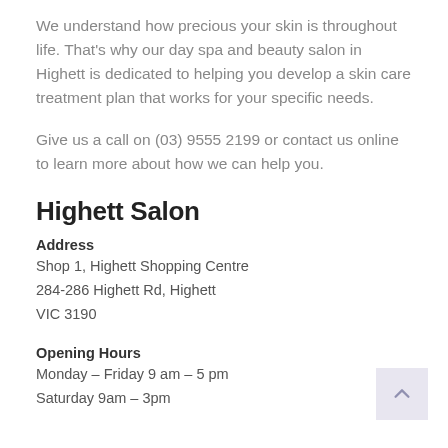We understand how precious your skin is throughout life. That's why our day spa and beauty salon in Highett is dedicated to helping you develop a skin care treatment plan that works for your specific needs.
Give us a call on (03) 9555 2199 or contact us online to learn more about how we can help you.
Highett Salon
Address
Shop 1, Highett Shopping Centre
284-286 Highett Rd, Highett
VIC 3190
Opening Hours
Monday – Friday 9 am – 5 pm
Saturday 9am – 3pm